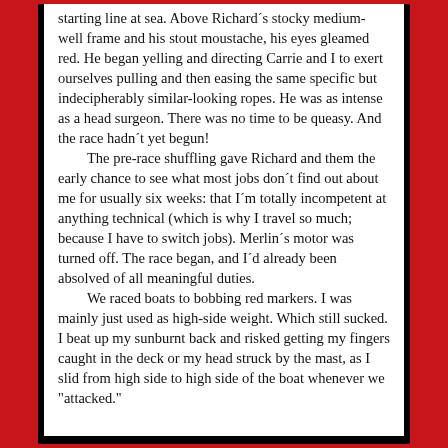starting line at sea. Above Richard´s stocky medium-well frame and his stout moustache, his eyes gleamed red. He began yelling and directing Carrie and I to exert ourselves pulling and then easing the same specific but indecipherably similar-looking ropes. He was as intense as a head surgeon. There was no time to be queasy. And the race hadn´t yet begun!

The pre-race shuffling gave Richard and them the early chance to see what most jobs don´t find out about me for usually six weeks: that I´m totally incompetent at anything technical (which is why I travel so much; because I have to switch jobs). Merlin´s motor was turned off. The race began, and I´d already been absolved of all meaningful duties.

We raced boats to bobbing red markers. I was mainly just used as high-side weight. Which still sucked. I beat up my sunburnt back and risked getting my fingers caught in the deck or my head struck by the mast, as I slid from high side to high side of the boat whenever we "attacked."